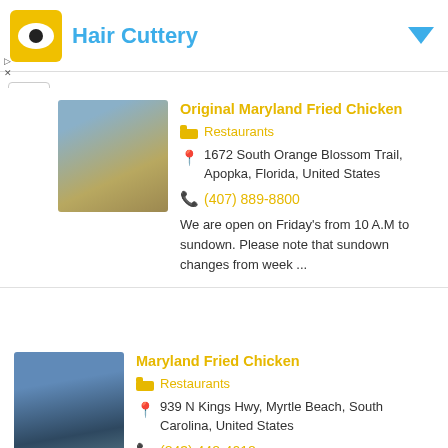[Figure (screenshot): Ad banner for Hair Cuttery with logo and blue dropdown arrow]
Original Maryland Fried Chicken
Restaurants
1672 South Orange Blossom Trail, Apopka, Florida, United States
(407) 889-8800
We are open on Friday's from 10 A.M to sundown. Please note that sundown changes from week ...
Maryland Fried Chicken
Restaurants
939 N Kings Hwy, Myrtle Beach, South Carolina, United States
(843) 448-4018